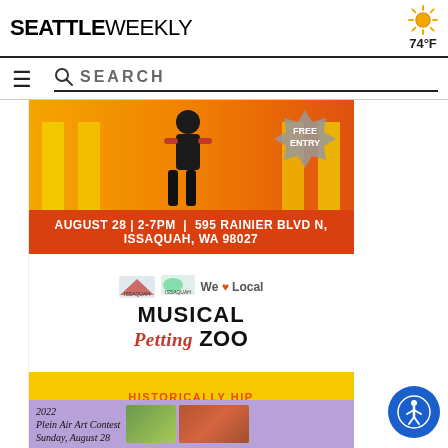SEATTLEWEEKLY   74°F
[Figure (screenshot): Seattle Weekly website screenshot showing navigation with hamburger menu, search bar, and advertisements for Issaquah events including Musical Petting Zoo, Historically Hip Artisan Market (August 28, 2-7PM, 595 Rainier Blvd N, Issaquah, WA 98027), and 2022 Plein Air Art Contest (Sunday, August 28). Features We Love Local logos. Accessibility button visible bottom right.]